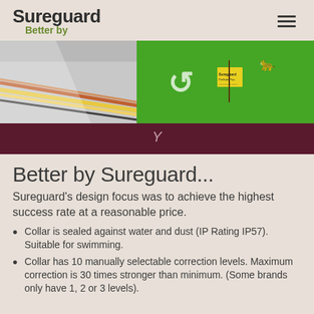Sureguard Better by
[Figure (photo): Hero image showing a pet containment system with colored wire/cable on the left side and green grass with a yellow Sureguard flag stake on the right side. White arrow graphics overlay the grass area.]
Better by Sureguard...
Sureguard's design focus was to achieve the highest success rate at a reasonable price.
Collar is sealed against water and dust (IP Rating IP57). Suitable for swimming.
Collar has 10 manually selectable correction levels. Maximum correction is 30 times stronger than minimum. (Some brands only have 1, 2 or 3 levels).